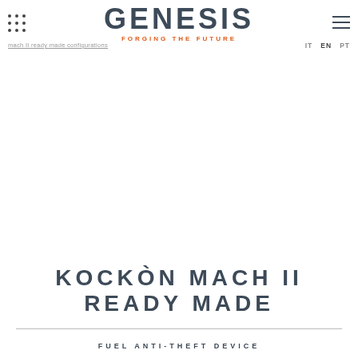GENESIS — FORGING THE FUTURE
mach II ready made configurations
IT  EN  PT
KOCKÒN MACH II READY MADE
FUEL ANTI-THEFT DEVICE